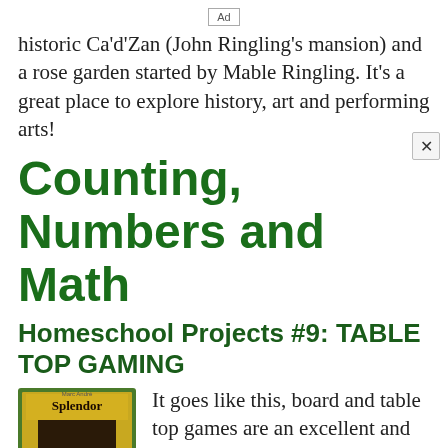Ad
historic Ca'd'Zan (John Ringling's mansion) and a rose garden started by Mable Ringling. It's a great place to explore history, art and performing arts!
Counting, Numbers and Math
Homeschool Projects #9: TABLE TOP GAMING
[Figure (photo): Book cover of Splendor board game]
It goes like this, board and table top games are an excellent and fun way to build math and counting skills. Eventually, these games also teach strategic and critical thinking. jBonus, they're far more